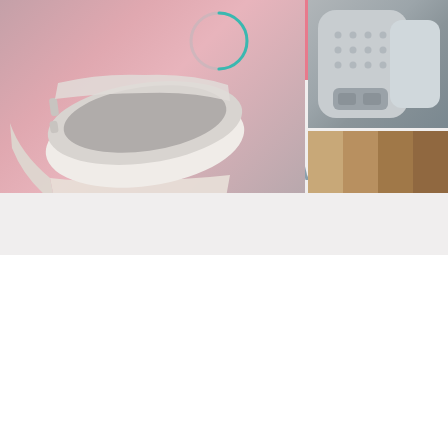Gallery   Add to Cart
Wear it your way
[Figure (photo): Close-up product photo of a white/gray fitness tracker or smartwatch on a pink background, shown at an angle with a circular progress ring indicator above it]
[Figure (photo): Close-up of the watch band showing perforated texture and clasp detail on a gray background]
[Figure (photo): Color swatches showing multiple band color options in tan/brown tones]